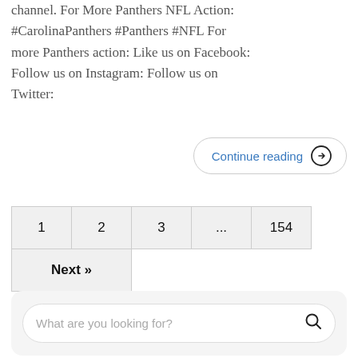channel. For More Panthers NFL Action: #CarolinaPanthers #Panthers #NFL For more Panthers action: Like us on Facebook: Follow us on Instagram: Follow us on Twitter:
Continue reading →
| 1 | 2 | 3 | ... | 154 |
| Next » |  |  |  |  |
What are you looking for?